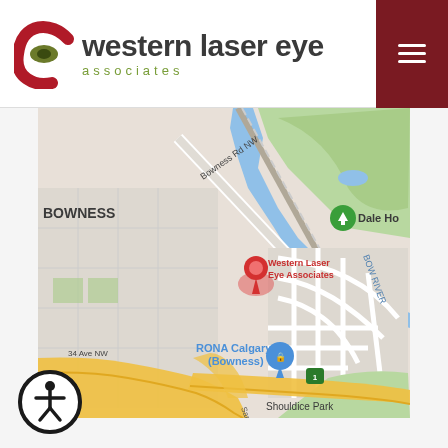western laser eye associates
[Figure (map): Google Maps showing location of Western Laser Eye Associates on Bowness Rd NW, Calgary. Map shows surrounding area including Bowness neighborhood, Bow River, RONA Calgary (Bowness), Dale Ho, Shouldice Park, and 34 Ave NW. A red pin marks the clinic location.]
[Figure (illustration): Accessibility icon - circular button with a stick figure person symbol in white on black background]